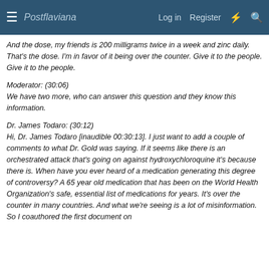Postflaviana  Log in  Register
And the dose, my friends is 200 milligrams twice in a week and zinc daily. That's the dose. I'm in favor of it being over the counter. Give it to the people. Give it to the people.
Moderator: (30:06)
We have two more, who can answer this question and they know this information.
Dr. James Todaro: (30:12)
Hi, Dr. James Todaro [inaudible 00:30:13]. I just want to add a couple of comments to what Dr. Gold was saying. If it seems like there is an orchestrated attack that's going on against hydroxychloroquine it's because there is. When have you ever heard of a medication generating this degree of controversy? A 65 year old medication that has been on the World Health Organization's safe, essential list of medications for years. It's over the counter in many countries. And what we're seeing is a lot of misinformation. So I coauthored the first document on